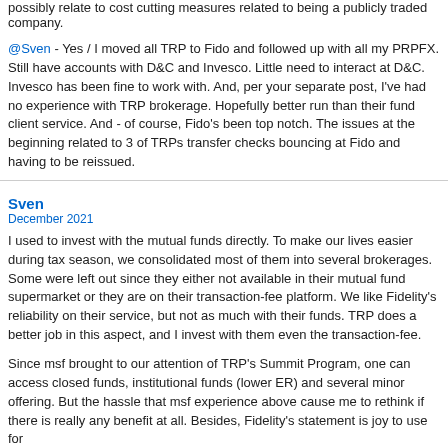possibly relate to cost cutting measures related to being a publicly traded company.
@Sven - Yes / I moved all TRP to Fido and followed up with all my PRPFX. Still have accounts with D&C and Invesco. Little need to interact at D&C. Invesco has been fine to work with. And, per your separate post, I've had no experience with TRP brokerage. Hopefully better run than their fund client service. And - of course, Fido's been top notch. The issues at the beginning related to 3 of TRPs transfer checks bouncing at Fido and having to be reissued.
Sven
December 2021
I used to invest with the mutual funds directly. To make our lives easier during tax season, we consolidated most of them into several brokerages. Some were left out since they either not available in their mutual fund supermarket or they are on their transaction-fee platform. We like Fidelity's reliability on their service, but not as much with their funds. TRP does a better job in this aspect, and I invest with them even the transaction-fee.
Since msf brought to our attention of TRP's Summit Program, one can access closed funds, institutional funds (lower ER) and several minor offering. But the hassle that msf experience above cause me to rethink if there is really any benefit at all. Besides, Fidelity's statement is joy to use for